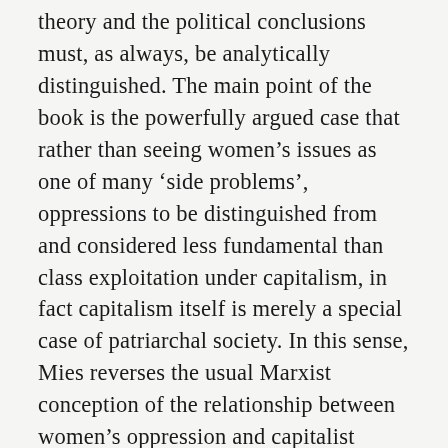theory and the political conclusions must, as always, be analytically distinguished. The main point of the book is the powerfully argued case that rather than seeing women's issues as one of many 'side problems', oppressions to be distinguished from and considered less fundamental than class exploitation under capitalism, in fact capitalism itself is merely a special case of patriarchal society. In this sense, Mies reverses the usual Marxist conception of the relationship between women's oppression and capitalist relations. This also means that women's oppression and violence against them should not be seen as a feudal holdover, something that will go away on the basis of a workerist politics, but are rather ongoing 'primitive accumulation' – something akin to what David Harvey has since theorized as 'accumulation by dispossession'. It is